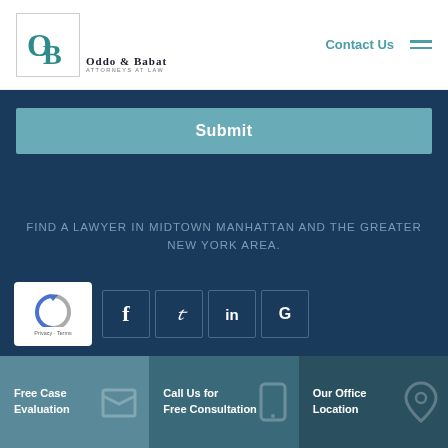[Figure (logo): Oddo & Babat Attorneys at Law logo with OB monogram in teal]
Contact Us
Submit
FIND A LAWYER IN MIDTOWN MANHATTAN AND THE GREATER NEW YORK AREA.
[Figure (other): reCAPTCHA widget and social media icons for Facebook, Twitter, LinkedIn, and Google]
Free Case Evaluation
Call Us for Free Consultation
Our Office Location